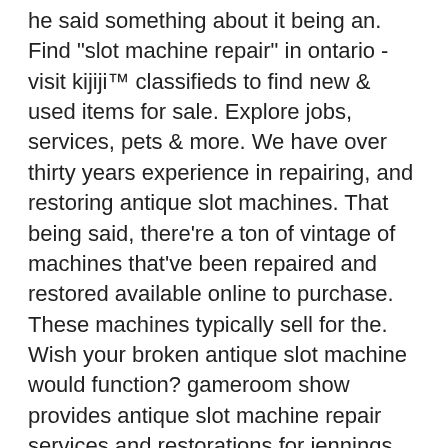he said something about it being an. Find &quot;slot machine repair&quot; in ontario - visit kijiji™ classifieds to find new &amp; used items for sale. Explore jobs, services, pets &amp; more. We have over thirty years experience in repairing, and restoring antique slot machines. That being said, there're a ton of vintage of machines that've been repaired and restored available online to purchase. These machines typically sell for the. Wish your broken antique slot machine would function? gameroom show provides antique slot machine repair services and restorations for jennings, mills, Sold* at palm beach 2010 - lot #5796 outstanding 1930s pace bantam 1 cent slot machine with older restoration. Repair and restoration services, arcade games, jukebox and other antiques. I guess he was trying to return the machine to a factory finish. This of course is the difference between restoration and preservation. Restoring old gaming